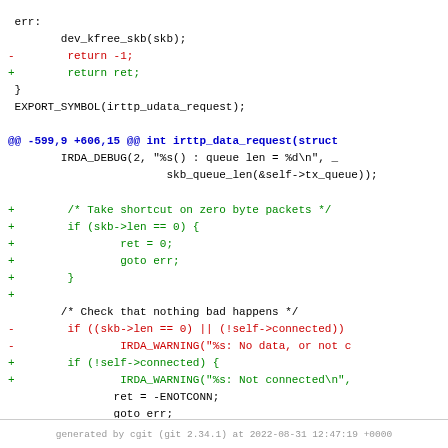Code diff showing changes to irttp functions including err label, dev_kfree_skb, return statements, EXPORT_SYMBOL, hunk header @@ -599,9 +606,15 @@, IRDA_DEBUG, shortcut on zero byte packets block, and connected check modifications.
generated by cgit (git 2.34.1) at 2022-08-31 12:47:19 +0000